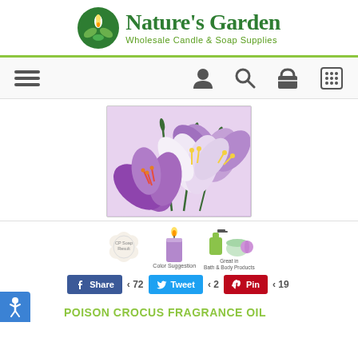[Figure (logo): Nature's Garden logo with green leaf/flame icon and text 'Nature's Garden Wholesale Candle & Soap Supplies']
[Figure (infographic): Navigation bar with hamburger menu, user icon, search icon, shopping basket icon, and phone/keypad icon]
[Figure (photo): Purple and white crocus flowers on a light purple background]
[Figure (infographic): Product usage icons: CP Soap Result (soap flower shape), Color Suggestion (purple candle), Great in Bath & Body Products (cosmetics bottles)]
[Figure (infographic): Social sharing buttons: Facebook Share (72), Twitter Tweet (2), Pinterest Pin (19)]
POISON CROCUS FRAGRANCE OIL